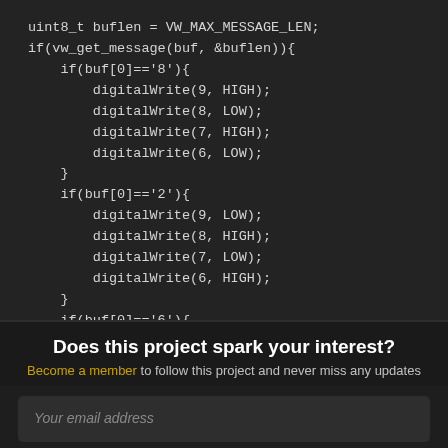uint8_t buflen = VW_MAX_MESSAGE_LEN;
if(vw_get_message(buf, &buflen)){
    if(buf[0]=='8'){
        digitalWrite(9, HIGH);
        digitalWrite(8, LOW);
        digitalWrite(7, HIGH);
        digitalWrite(6, LOW);
    }
    if(buf[0]=='2'){
        digitalWrite(9, LOW);
        digitalWrite(8, HIGH);
        digitalWrite(7, LOW);
        digitalWrite(6, HIGH);
    }
    if(buf[0]=='6'){
Does this project spark your interest?
Become a member to follow this project and never miss any updates
Your email address